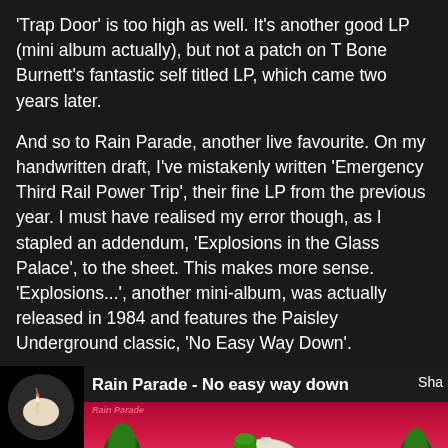'Trap Door' is too high as well. It's another good LP (mini album actually), but not a patch on T Bone Burnett's fantastic self titled LP, which came two years later.

And so to Rain Parade, another live favourite. On my handwritten draft, I've mistakenly written 'Emergency Third Rail Power Trip', their fine LP from the previous year. I must have realised my error though, as I stapled an addendum, 'Explosions in the Glass Palace', to the sheet. This makes more sense. 'Explosions...', another mini-album, was actually released in 1984 and features the Paisley Underground classic, 'No Easy Way Down'.
[Figure (screenshot): A music video player screenshot showing Rain Parade - No easy way down, with album art depicting a building with a dome and pink/red sky background. An avatar of a person smoking is shown in the bottom left.]